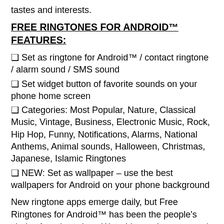tastes and interests.
FREE RINGTONES FOR ANDROID™ FEATURES:
❑ Set as ringtone for Android™ / contact ringtone / alarm sound / SMS sound
❑ Set widget button of favorite sounds on your phone home screen
❑ Categories: Most Popular, Nature, Classical Music, Vintage, Business, Electronic Music, Rock, Hip Hop, Funny, Notifications, Alarms, National Anthems, Animal sounds, Halloween, Christmas, Japanese, Islamic Ringtones
❑ NEW: Set as wallpaper – use the best wallpapers for Android on your phone background
New ringtone apps emerge daily, but Free Ringtones for Android™ has been the people's choice for a long time. We add new ringtones and new ringtone categories to Free Ringtones for Android™ all the time, we update our free ringtone app according to your feedback and your needs, which is why Free Ringtones for Android™ is the ringtone app of the people. Install now and enjoy!